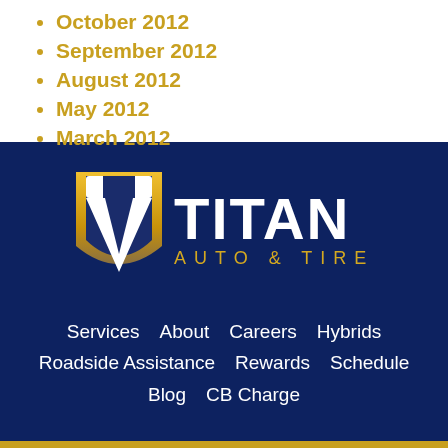October 2012
September 2012
August 2012
May 2012
March 2012
[Figure (logo): Titan Auto & Tire logo with shield emblem in gold and white on dark navy background]
Services   About   Careers   Hybrids   Roadside Assistance   Rewards   Schedule   Blog   CB Charge